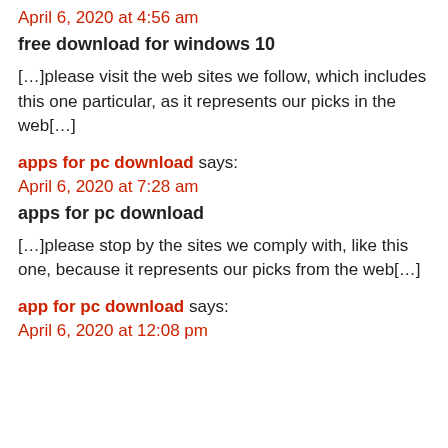April 6, 2020 at 4:56 am
free download for windows 10
[…]please visit the web sites we follow, which includes this one particular, as it represents our picks in the web[…]
apps for pc download says:
April 6, 2020 at 7:28 am
apps for pc download
[…]please stop by the sites we comply with, like this one, because it represents our picks from the web[…]
app for pc download says:
April 6, 2020 at 12:08 pm